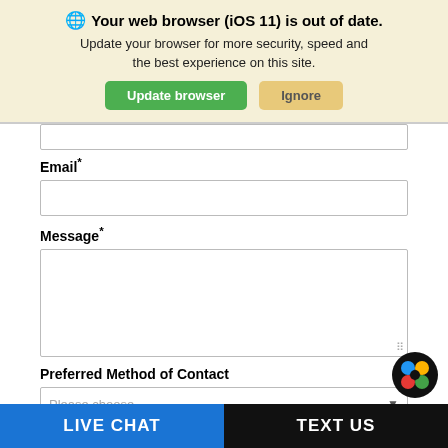[Figure (screenshot): Browser update notification banner with globe icon, bold title 'Your web browser (iOS 11) is out of date.', subtitle text, and two buttons: 'Update browser' (green) and 'Ignore' (tan/yellow).]
Email*
Message*
Preferred Method of Contact
Please choose ...
[Figure (logo): Circular logo with colored dots (blue, yellow, red, green) on black background.]
LIVE CHAT
TEXT US